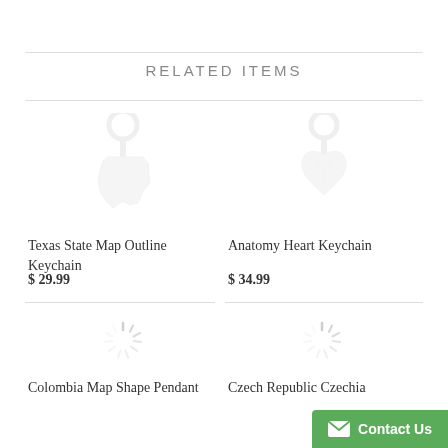RELATED ITEMS
[Figure (illustration): Texas State Map Outline Keychain product image - light gray keychain silhouette]
Texas State Map Outline Keychain
$ 29.99
[Figure (illustration): Anatomy Heart Keychain product image - light gray keychain with anatomical heart silhouette]
Anatomy Heart Keychain
$ 34.99
[Figure (illustration): Loading spinner icon for Colombia Map Shape Pendant]
Colombia Map Shape Pendant
[Figure (illustration): Loading spinner icon for Czech Republic Czechia product]
Czech Republic Czechia